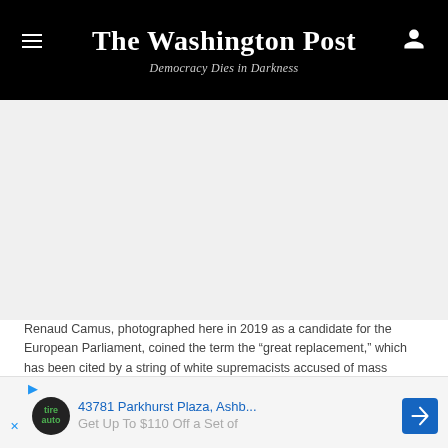The Washington Post — Democracy Dies in Darkness
[Figure (photo): Blank/white image area representing a photo of Renaud Camus]
Renaud Camus, photographed here in 2019 as a candidate for the European Parliament, coined the term the “great replacement,” which has been cited by a string of white supremacists accused of mass murder. (Oleg Cetinic/AP)
Gendron, who wrote that he grew concerned about
[Figure (other): Advertisement bar: 43781 Parkhurst Plaza, Ashb... / Get Up To $110 Off a Set of — with TireAuto logo and blue navigation arrow]